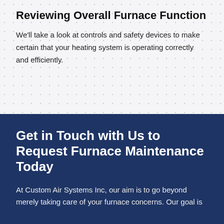Reviewing Overall Furnace Function
We'll take a look at controls and safety devices to make certain that your heating system is operating correctly and efficiently.
Get in Touch with Us to Request Furnace Maintenance Today
At Custom Air Systems Inc, our aim is to go beyond merely taking care of your furnace concerns. Our goal is